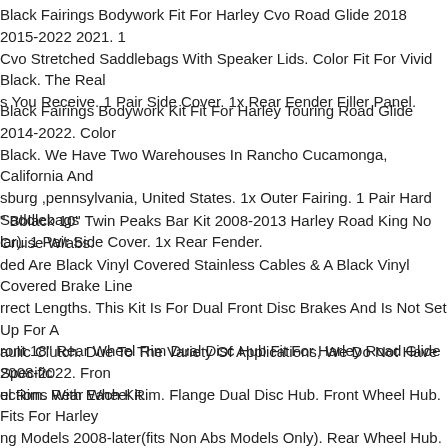Black Fairings Bodywork Fit For Harley Cvo Road Glide 2018 2015-2022 2021. 1 Cvo Stretched Saddlebags With Speaker Lids. Color Fit For Vivid Black. The Real s You Receive. 1 Pair Side Cover. 1x Rear Fender Filler Panel.
Black Fairings Bodywork Kit Fit For Harley Touring Road Glide 2014-2022. Color Black. We Have Two Warehouses In Rancho Cucamonga, California And sburg ,pennsylvania, United States. 1x Outer Fairing. 1 Pair Hard Saddlebags lar). 1 Pair Side Cover. 1x Rear Fender.
" Bblack 10" Twin Peaks Bar Kit 2008-2013 Harley Road King No Cruise W/abs. ded Are Black Vinyl Covered Stainless Cables & A Black Vinyl Covered Brake Line rrect Lengths. This Kit Is For Dual Front Disc Brakes And Is Not Set Up For A aulic Clutch. Due To The Variety Of Applications, We Do Not Have Specific uctions With Each Kit.
ront 18" Rear Wheel Rim Dual Disc Hub Fit For Harley Road Glide 2008-2022. Fron el Rim. Rear Wheel Rim. Flange Dual Disc Hub. Front Wheel Hub. Fits For Harley ng Models 2008-later(fits Non Abs Models Only). Rear Wheel Hub. 1x Front Whee 1x Rear Wheel Rim.
gs Bodywork Kit Cover Fit For Harley Cvo Road Glide 2015-2022 Gunship Gray. 1 Cvo Stretched Saddlebags With Speaker Lids. 1 Pair Side Cover. We Have Two